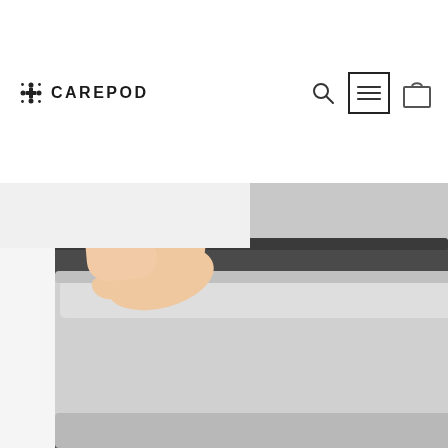[Figure (logo): Carepod logo with cross/plus icon and bold lettering]
[Figure (screenshot): Website navigation bar with search icon, hamburger menu in a box, and shopping bag icon]
[Figure (photo): A hand placing a stainless steel pot on an induction cooktop]